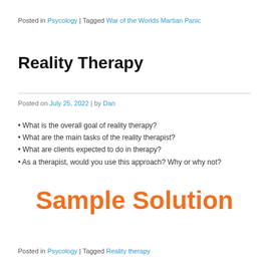Posted in Psycology | Tagged War of the Worlds Martian Panic
Reality Therapy
Posted on July 25, 2022 | by Dan
What is the overall goal of reality therapy?
What are the main tasks of the reality therapist?
What are clients expected to do in therapy?
As a therapist, would you use this approach? Why or why not?
[Figure (other): Sample Solution watermark text in orange bold]
Posted in Psycology | Tagged Reality therapy